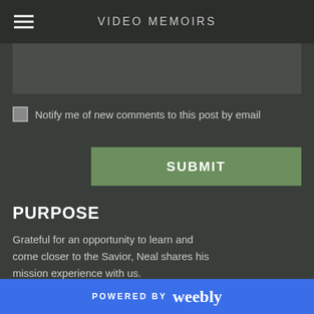VIDEO MEMOIRS
[Figure (screenshot): Dark textarea input field for comment submission]
Notify me of new comments to this post by email
SUBMIT
PURPOSE
Grateful for an opportunity to learn and come closer to the Savior, Neal shares his mission experience with us.
ARCHIVES
POWERED BY weebly